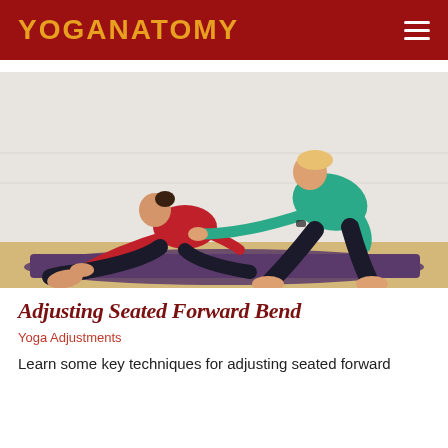YOGANATOMY
[Figure (photo): A yoga instructor in a green top assists a student in a red top who is seated on a purple mat performing a forward bend stretch, in a white-walled studio.]
Adjusting Seated Forward Bend
Yoga Adjustments
Learn some key techniques for adjusting seated forward